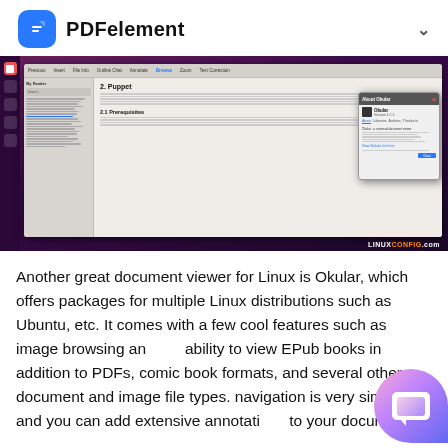PDFelement
[Figure (screenshot): Screenshot of PDFelement application open on Linux Ubuntu desktop, showing a PDF document about Puppet with a chapter view and an Okular 'About' dialog box open. The LINUXCONFIG.com watermark is visible in the bottom right.]
Another great document viewer for Linux is Okular, which offers packages for multiple Linux distributions such as Ubuntu, etc. It comes with a few cool features such as image browsing and ability to view EPub books in addition to PDFs, comic book formats, and several other document and image file types. navigation is very simple and you can add extensive annotations to your document.